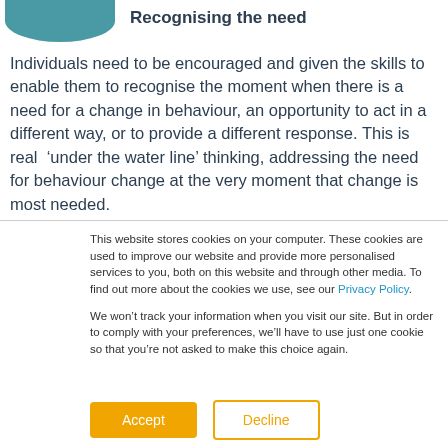[Figure (illustration): Teal/blue rounded oval shape at top left corner, partially cropped, representing an icon or decorative graphic element]
Recognising the need
Individuals need to be encouraged and given the skills to enable them to recognise the moment when there is a need for a change in behaviour, an opportunity to act in a different way, or to provide a different response. This is real ‘under the water line’ thinking, addressing the need for behaviour change at the very moment that change is most needed.
This website stores cookies on your computer. These cookies are used to improve our website and provide more personalised services to you, both on this website and through other media. To find out more about the cookies we use, see our Privacy Policy.
We won’t track your information when you visit our site. But in order to comply with your preferences, we’ll have to use just one cookie so that you’re not asked to make this choice again.